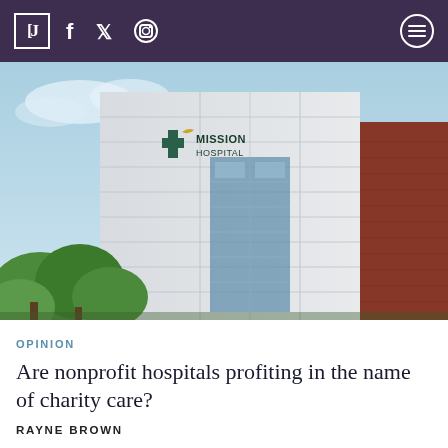CJ | f [twitter] [instagram] [menu]
[Figure (photo): Exterior photo of Mission Hospital building, showing a modern white/grey facade with large glass windows and a Mission Hospital logo sign. Brick portion visible on right side. Green trees in foreground against a blue sky.]
OPINION
Are nonprofit hospitals profiting in the name of charity care?
RAYNE BROWN